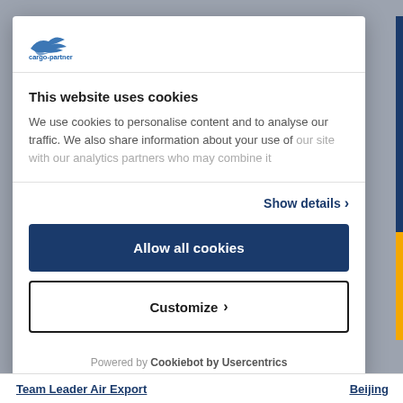[Figure (logo): cargo-partner logo with stylized bird/plane icon in blue]
This website uses cookies
We use cookies to personalise content and to analyse our traffic. We also share information about your use of our site with our analytics partners who may combine it
Show details >
Allow all cookies
Customize >
Powered by Cookiebot by Usercentrics
Team Leader Air Export
Beijing